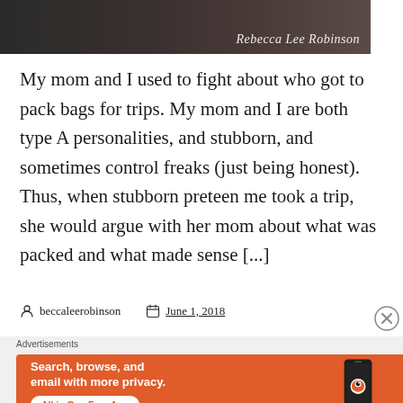[Figure (photo): Dark moody background image with cursive signature text 'Rebecca Lee Robinson' in white at the bottom right]
My mom and I used to fight about who got to pack bags for trips. My mom and I are both type A personalities, and stubborn, and sometimes control freaks (just being honest). Thus, when stubborn preteen me took a trip, she would argue with her mom about what was packed and what made sense [...]
beccaleerobinson   June 1, 2018
[Figure (screenshot): DuckDuckGo advertisement banner with orange background. Text reads: 'Search, browse, and email with more privacy. All in One Free App' with DuckDuckGo logo and phone mockup on the right side.]